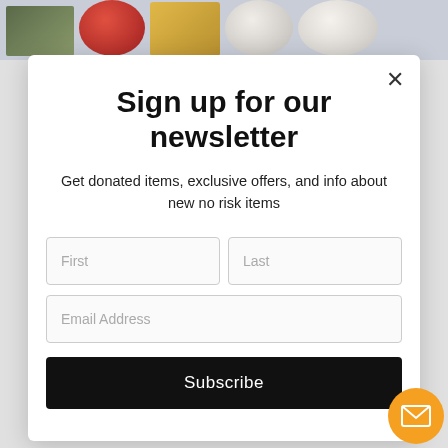[Figure (screenshot): Background strip showing sports merchandise images: football game photo, red helmet, shipping box with DSG branding, football, Arkansas Razorbacks logo helmet]
Sign up for our newsletter
Get donated items, exclusive offers, and info about new no risk items
[Figure (screenshot): Newsletter signup form with First name, Last name, Email Address fields and a Subscribe button]
[Figure (other): Orange floating action button with mail/envelope icon in bottom right corner]